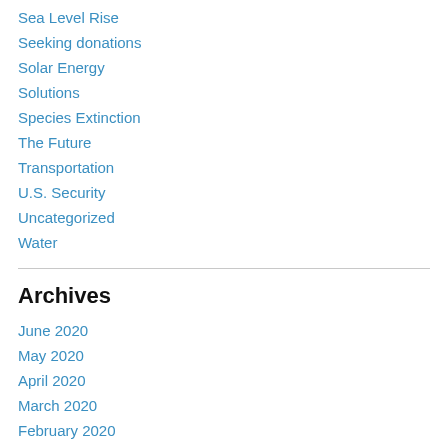Sea Level Rise
Seeking donations
Solar Energy
Solutions
Species Extinction
The Future
Transportation
U.S. Security
Uncategorized
Water
Archives
June 2020
May 2020
April 2020
March 2020
February 2020
January 2020